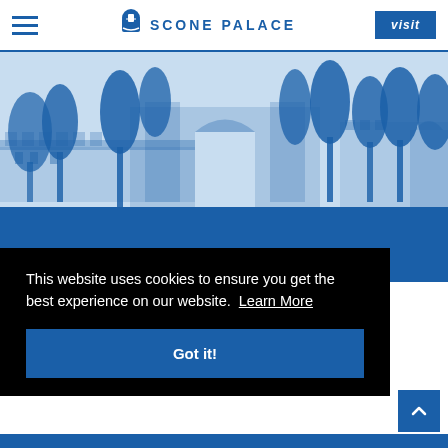≡  SCONE PALACE  visit
[Figure (illustration): Line illustration of Scone Palace with trees and castle walls in blue and white tones on a light blue background, transitioning to a solid blue lower section.]
This website uses cookies to ensure you get the best experience on our website. Learn More
Got it!